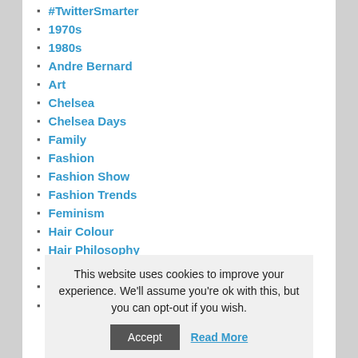#TwitterSmarter
1970s
1980s
Andre Bernard
Art
Chelsea
Chelsea Days
Family
Fashion
Fashion Show
Fashion Trends
Feminism
Hair Colour
Hair Philosophy
Hair products
Hair Tips
hairdressing
This website uses cookies to improve your experience. We'll assume you're ok with this, but you can opt-out if you wish.
Accept | Read More